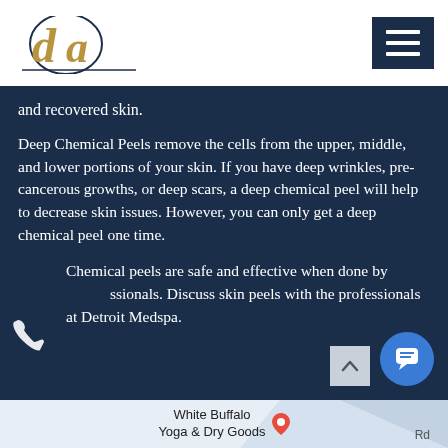[Figure (logo): Detroit Aesthetics logo with 'da' stylized letters in gold/navy circle and italic text 'detroit aesthetics' below]
and recovered skin.
Deep Chemical Peels remove the cells from the upper, middle, and lower portions of your skin. If you have deep wrinkles, pre-cancerous growths, or deep scars, a deep chemical peel will help to decrease skin issues. However, you can only get a deep chemical peel one time.
Chemical peels are safe and effective when done by professionals. Discuss skin peels with the professionals at Detroit Medspa.
White Buffalo Yoga & Dry Goods